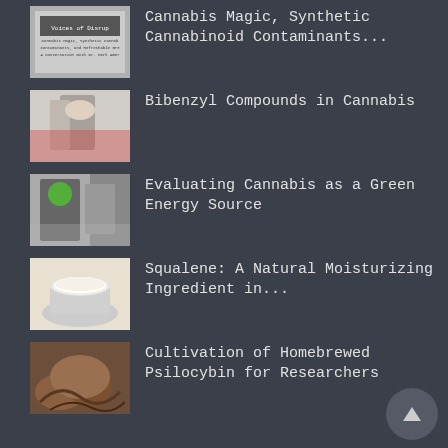Cannabis Magic, Synthetic Cannabinoid Contaminants...
Bibenzyl Compounds in Cannabis
Evaluating Cannabis as a Green Energy Source
Squalene: A Natural Moisturizing Ingredient in...
Cultivation of Homebrewed Psilocybin for Researchers